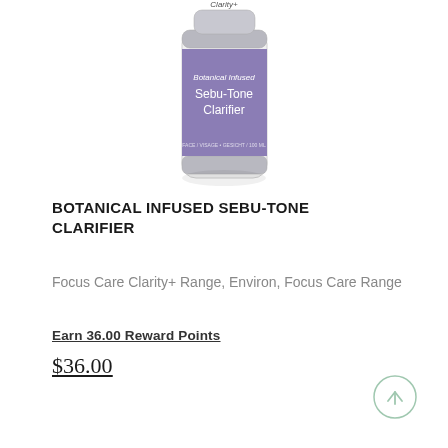[Figure (photo): Product bottle of Botanical Infused Sebu-Tone Clarifier by Environ, Clarity+ range. White cylindrical bottle with silver cap and purple label showing product name.]
BOTANICAL INFUSED SEBU-TONE CLARIFIER
Focus Care Clarity+ Range, Environ, Focus Care Range
Earn 36.00 Reward Points
$36.00